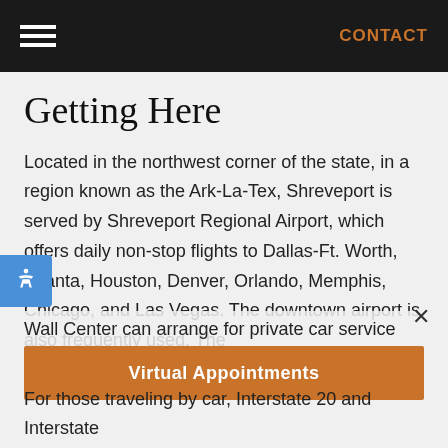CONTACT
Getting Here
Located in the northwest corner of the state, in a region known as the Ark-La-Tex, Shreveport is served by Shreveport Regional Airport, which offers daily non-stop flights to Dallas-Ft. Worth, Atlanta, Houston, Denver, Orlando, Memphis, Chicago, and Las Vegas. The downtown airport is also frequently used. The Wall Center can arrange for private car service to and from the airports if desired.
Virtual Appointments
For those traveling by car, Interstate 20 and Interstate